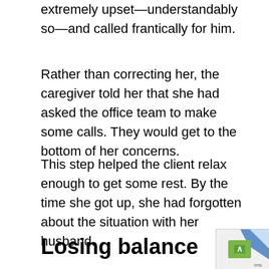extremely upset—understandably so—and called frantically for him.
Rather than correcting her, the caregiver told her that she had asked the office team to make some calls. They would get to the bottom of her concerns.
This step helped the client relax enough to get some rest. By the time she got up, she had forgotten about the situation with her husband.
Losing balance